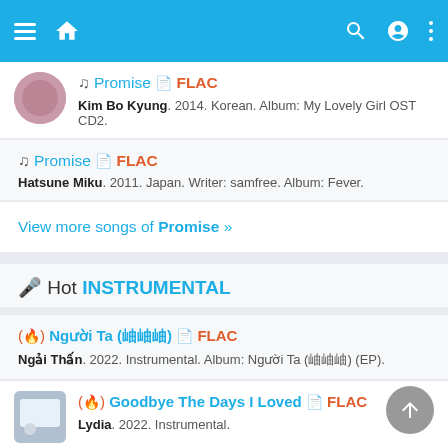Navigation bar with menu, home, search, login, more icons
♫ Promise 📄 FLAC — Kim Bo Kyung. 2014. Korean. Album: My Lovely Girl OST CD2.
♫ Promise 📄 FLAC — Hatsune Miku. 2011. Japan. Writer: samfree. Album: Fever.
View more songs of Promise »
🎤 Hot INSTRUMENTAL
(🔥) Người Ta (嗯嗯嗯) 📄 FLAC — Ngải Thấn. 2022. Instrumental. Album: Người Ta (嗯嗯嗯) (EP).
(🔥) Goodbye The Days I Loved 📄 FLAC — Lydia. 2022. Instrumental.
(🔥) Bò Lở Lại Bò Lở (嗯嗯嗯嗯嗯嗯) 📄 FLAC — Vương Lý Văn. 2022. Instrumental.